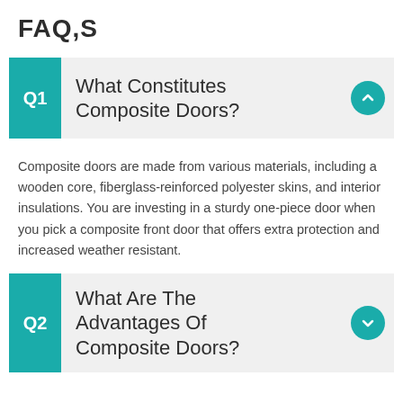FAQ,S
Q1  What Constitutes Composite Doors?
Composite doors are made from various materials, including a wooden core, fiberglass-reinforced polyester skins, and interior insulations. You are investing in a sturdy one-piece door when you pick a composite front door that offers extra protection and increased weather resistant.
Q2  What Are The Advantages Of Composite Doors?